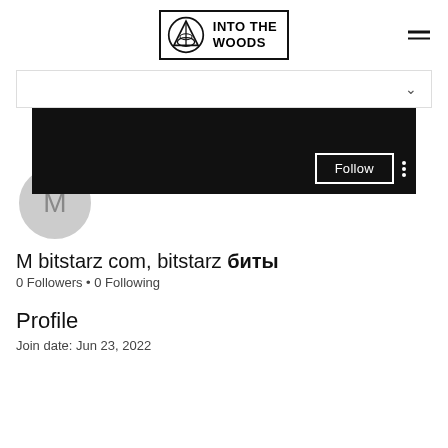[Figure (logo): Into The Woods logo with geometric triangle/boat icon in a bordered box, and a hamburger menu icon to the right]
[Figure (screenshot): Dropdown bar with chevron down arrow on the right]
[Figure (screenshot): Dark/black banner with Follow button (white border) and three vertical dots menu on the right. Profile avatar circle with letter M overlapping the bottom of the banner.]
M bitstarz com, bitstarz биты
0 Followers • 0 Following
Profile
Join date: Jun 23, 2022